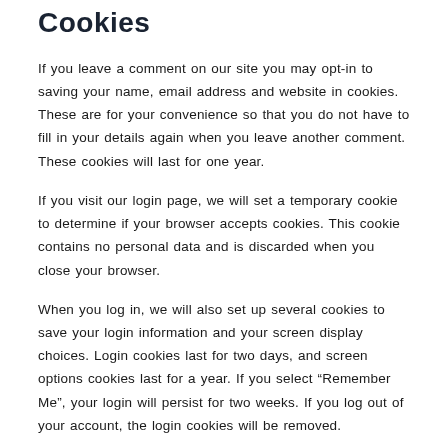Cookies
If you leave a comment on our site you may opt-in to saving your name, email address and website in cookies. These are for your convenience so that you do not have to fill in your details again when you leave another comment. These cookies will last for one year.
If you visit our login page, we will set a temporary cookie to determine if your browser accepts cookies. This cookie contains no personal data and is discarded when you close your browser.
When you log in, we will also set up several cookies to save your login information and your screen display choices. Login cookies last for two days, and screen options cookies last for a year. If you select “Remember Me”, your login will persist for two weeks. If you log out of your account, the login cookies will be removed.
If you edit or publish an article, an additional cookie will be saved in your browser. This cookie includes no personal data and simply indicates the post ID of the article you just edited. It expires after 1